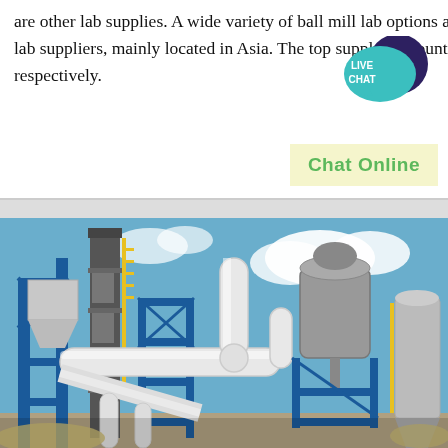are other lab supplies. A wide variety of ball mill lab options are available to you. There are 8,097 ball mill lab suppliers, mainly located in Asia. The top supplying country or region is China, which supply of ball mill lab respectively.
[Figure (illustration): Live Chat speech bubble icon in teal/dark blue colors with text LIVE CHAT]
Chat Online
[Figure (photo): Industrial ball mill facility with blue steel framework, large white pipes and ducts, silos and processing equipment against a blue sky with clouds]